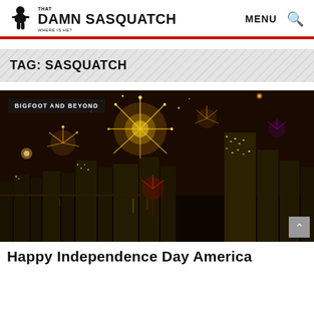THAT DAMN SASQUATCH WHERE IS HE? MENU
TAG: SASQUATCH
[Figure (photo): Night fireworks display over a city skyline with bright golden and red fireworks bursting over illuminated skyscrapers reflected in water below. A label reads BIGFOOT AND BEYOND in the upper left corner.]
Happy Independence Day America